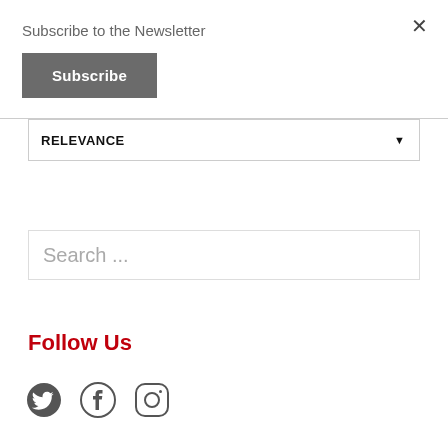Subscribe to the Newsletter
Subscribe
RELEVANCE
Search ...
Follow Us
[Figure (illustration): Social media icons: Twitter bird, Facebook circle logo, Instagram camera logo]